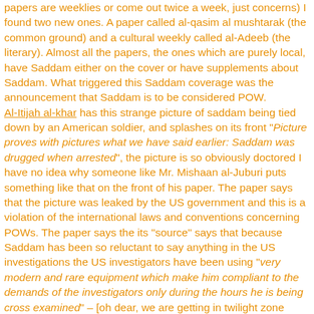papers are weeklies or come out twice a week, just concerns) I found two new ones. A paper called al-qasim al mushtarak (the common ground) and a cultural weekly called al-Adeeb (the literary). Almost all the papers, the ones which are purely local, have Saddam either on the cover or have supplements about Saddam. What triggered this Saddam coverage was the announcement that Saddam is to be considered POW.
Al-Itijah al-khar has this strange picture of saddam being tied down by an American soldier, and splashes on its front "Picture proves with pictures what we have said earlier: Saddam was drugged when arrested", the picture is so obviously doctored I have no idea why someone like Mr. Mishaan al-Juburi puts something like that on the front of his paper. The paper says that the picture was leaked by the US government and this is a violation of the international laws and conventions concerning POWs. The paper says the its "source" says that because Saddam has been so reluctant to say anything in the US investigations the US investigators have been using "very modern and rare equipment which make him compliant to the demands of the investigators only during the hours he is being cross examined" – [oh dear, we are getting in twilight zone here]... and the paper says that